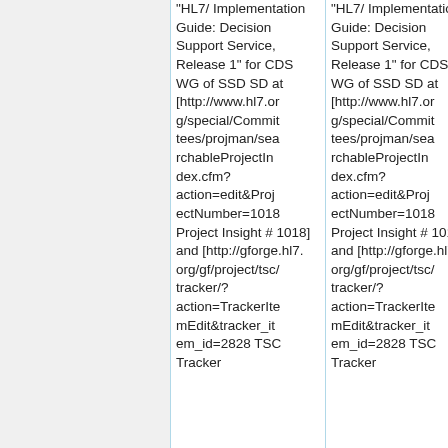|  | "HL7/Implementation Guide: Decision Support Service, Release 1" for CDS WG of SSD SD at [http://www.hl7.org/special/Committees/projman/searchableProjectIndex.cfm?action=edit&ProjectNumber=1018 Project Insight # 1018] and [http://gforge.hl7.org/gf/project/tsc/tracker/?action=TrackerItemEdit&tracker_item_id=2828 TSC Tracker | "HL7/Implementation Guide: Decision Support Service, Release 1" for CDS WG of SSD SD at [http://www.hl7.org/special/Committees/projman/searchableProjectIndex.cfm?action=edit&ProjectNumber=1018 Project Insight # 1018] and [http://gforge.hl7.org/gf/project/tsc/tracker/?action=TrackerItemEdit&tracker_item_id=2828 TSC Tracker |